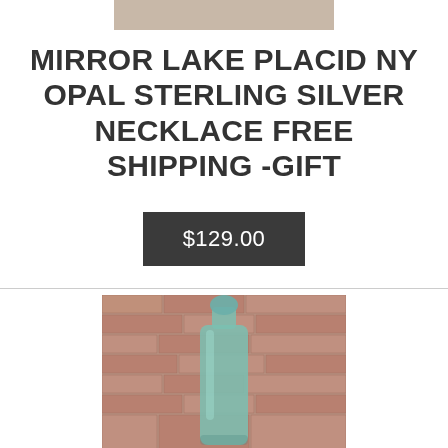[Figure (photo): Partial top of a product photo, cropped at the top of the page]
MIRROR LAKE PLACID NY OPAL STERLING SILVER NECKLACE FREE SHIPPING -GIFT
$129.00
[Figure (photo): Photo of an antique aqua/teal glass bottle with a round top, photographed against a brick wall background]